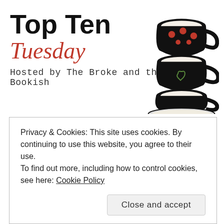[Figure (logo): Top Ten Tuesday logo with stacked black teacups illustration. Text reads 'Top Ten Tuesday' with 'Hosted by The Broke and the Bookish' below in a handwritten style font.]
Top Ten Tuesday is hosted by The Broke and the Bookish.
It's been four months since I last did a Top Ten Tuesday, so it's about time I did one again! This week's prompt is Top...
Privacy & Cookies: This site uses cookies. By continuing to use this website, you agree to their use.
To find out more, including how to control cookies, see here: Cookie Policy
Close and accept